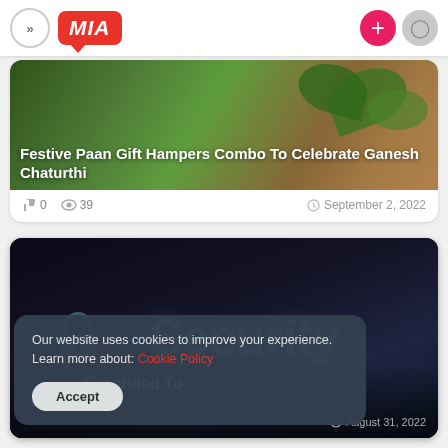MIA navigation bar with back arrows, MIA logo, plus button, user icon
[Figure (photo): Festive Paan gift hampers with green leaves — food/celebration photo]
Festive Paan Gift Hampers Combo To Celebrate Ganesh Chaturthi
0 likes · 39 views · September 2, 2022
[Figure (photo): Dark background with glowing blue 'Security' text and a lock/shield icon]
G... scam Expanded To Singapore · August 31, 2022
Our website uses cookies to improve your experience. Learn more about: Cookie Policy
Accept